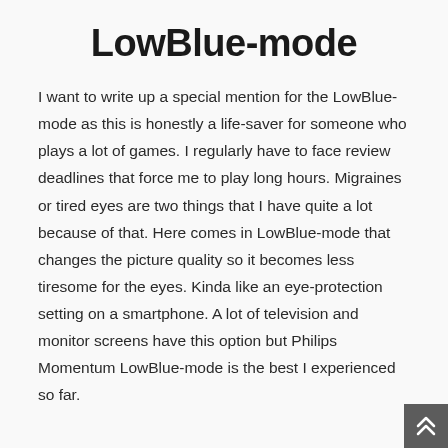LowBlue-mode
I want to write up a special mention for the LowBlue-mode as this is honestly a life-saver for someone who plays a lot of games. I regularly have to face review deadlines that force me to play long hours. Migraines or tired eyes are two things that I have quite a lot because of that. Here comes in LowBlue-mode that changes the picture quality so it becomes less tiresome for the eyes. Kinda like an eye-protection setting on a smartphone. A lot of television and monitor screens have this option but Philips Momentum LowBlue-mode is the best I experienced so far.